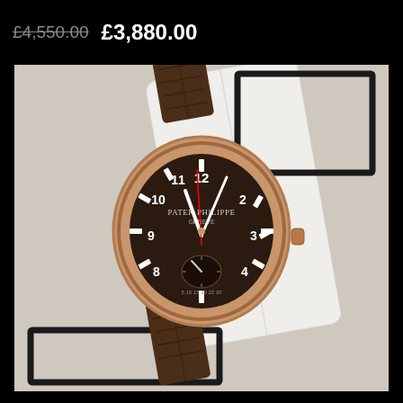£4,550.00  £3,880.00
[Figure (photo): Patek Philippe Aquanaut rose gold watch with brown crocodile leather strap, displayed on a white cushion inside a black-bordered box. The watch dial shows numerals 8-12 and 1-4, with subdials, on a dark brown textured dial. Rose gold case.]